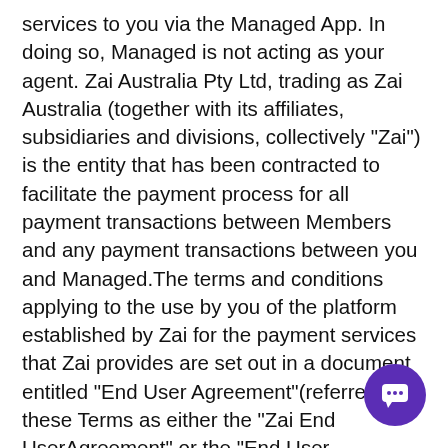services to you via the Managed App. In doing so, Managed is not acting as your agent. Zai Australia Pty Ltd, trading as Zai Australia (together with its affiliates, subsidiaries and divisions, collectively "Zai") is the entity that has been contracted to facilitate the payment process for all payment transactions between Members and any payment transactions between you and Managed.The terms and conditions applying to the use by you of the platform established by Zai for the payment services that Zai provides are set out in a document entitled "End User Agreement"(referred to in these Terms as either the "Zai End UserAgreement" or the "End User Agreement"). A copy of the Zai End User Agreement can be accessed on the internet at https://www.hellozai.com/company/policies/en...agreement or by clicking here. You should note that Zai
[Figure (other): Purple circular chat button with white speech bubble icon in the bottom right corner]